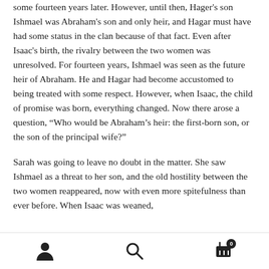some fourteen years later. However, until then, Hager's son Ishmael was Abraham's son and only heir, and Hagar must have had some status in the clan because of that fact. Even after Isaac's birth, the rivalry between the two women was unresolved. For fourteen years, Ishmael was seen as the future heir of Abraham. He and Hagar had become accustomed to being treated with some respect. However, when Isaac, the child of promise was born, everything changed. Now there arose a question, “Who would be Abraham’s heir: the first-born son, or the son of the principal wife?”
Sarah was going to leave no doubt in the matter. She saw Ishmael as a threat to her son, and the old hostility between the two women reappeared, now with even more spitefulness than ever before. When Isaac was weaned,
[Figure (other): Bottom navigation bar with user icon, search icon, and shopping cart icon with badge showing 0]